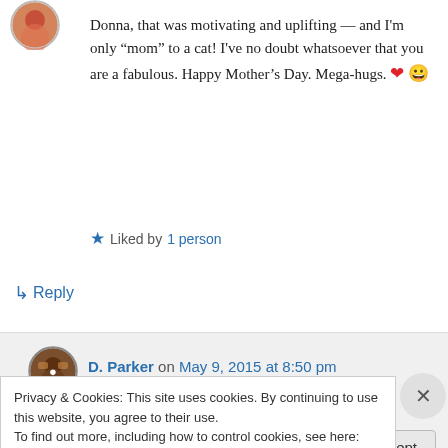[Figure (photo): Circular avatar image at top left, decorative/colorful]
Donna, that was motivating and uplifting — and I'm only “mom” to a cat! I've no doubt whatsoever that you are a fabulous. Happy Mother's Day. Mega-hugs. ❤ 😀
★ Liked by 1 person
↳ Reply
[Figure (photo): Circular avatar for D. Parker commenter]
D. Parker on May 9, 2015 at 8:50 pm
Privacy & Cookies: This site uses cookies. By continuing to use this website, you agree to their use.
To find out more, including how to control cookies, see here: Cookie Policy
Close and accept